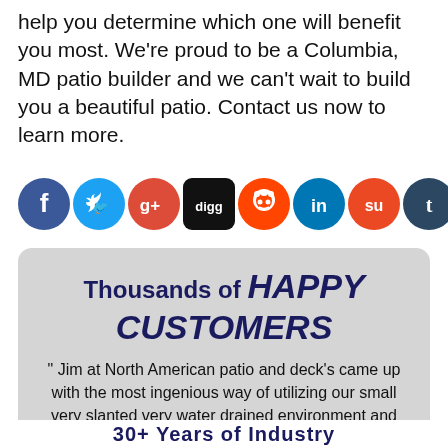help you determine which one will benefit you most. We're proud to be a Columbia, MD patio builder and we can't wait to build you a beautiful patio. Contact us now to learn more.
[Figure (infographic): Row of social media share icons: Facebook, Twitter, Google+, Digg, Reddit, LinkedIn, StumbleUpon, Tumblr, Pinterest (Save), Email]
[Figure (infographic): Testimonial box with gray rounded rectangle background. Heading: Thousands of HAPPY CUSTOMERS. Quote: Jim at North American patio and deck's came up with the most ingenious way of utilizing our small very slanted very water drained environment and turned it into a virtual oasis. Making this deck the envy of all our ambitions and gem for the community. Attribution: - C. Cross]
30+ Years of Industry